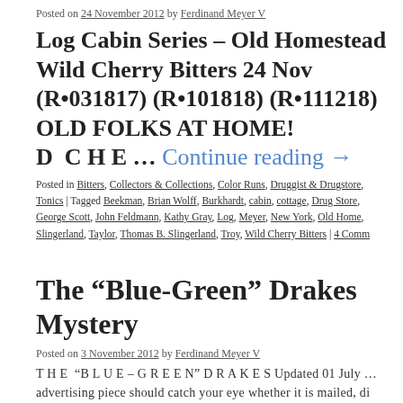Posted on 24 November 2012 by Ferdinand Meyer V
Log Cabin Series – Old Homestead Wild Cherry Bitters 24 Nov (R•031817) (R•101818) (R•111218) OLD FOLKS AT HOME! D C H E … Continue reading →
Posted in Bitters, Collectors & Collections, Color Runs, Druggist & Drugstore, Tonics | Tagged Beekman, Brian Wolff, Burkhardt, cabin, cottage, Drug Store, George Scott, John Feldmann, Kathy Gray, Log, Meyer, New York, Old Home, Slingerland, Taylor, Thomas B. Slingerland, Troy, Wild Cherry Bitters | 4 Comm
The “Blue-Green” Drakes Mystery
Posted on 3 November 2012 by Ferdinand Meyer V
T H E “B L U E – G R E E N” D R A K E S Updated 01 July … advertising piece should catch your eye whether it is mailed, di
Posted in Auction News, Bitters, Collectors & Collections, Color, Figural Bottle, Bottle Auctions, Bill Taylor, bitters, blue-green, cabin, Drakes, e-mail, ferdinan, Burkhardt, Jeff Wichmann, Jim Hagenbuch, John Feldmann, Meyer, Mike He, Comments